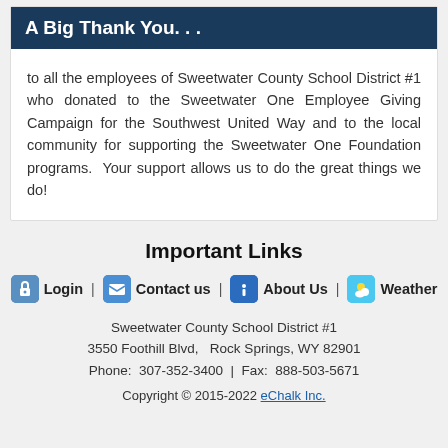A Big Thank You. . .
to all the employees of Sweetwater County School District #1 who donated to the Sweetwater One Employee Giving Campaign for the Southwest United Way and to the local community for supporting the Sweetwater One Foundation programs.  Your support allows us to do the great things we do!
Important Links
Login | Contact us | About Us | Weather
Sweetwater County School District #1
3550 Foothill Blvd,   Rock Springs, WY 82901
Phone:  307-352-3400  |  Fax:  888-503-5671
Copyright © 2015-2022 eChalk Inc.